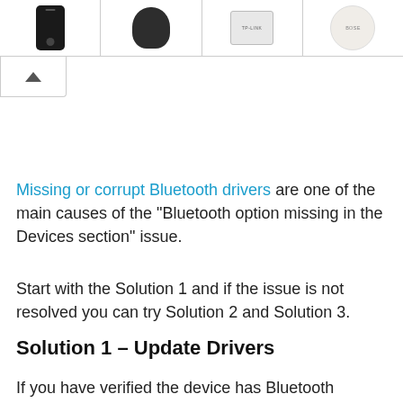[Figure (screenshot): Image strip showing four product thumbnail images: a black smartphone, a dark wireless earbud, a white/grey device, and a round white Bose device. Below is a scroll-up button with a chevron/caret icon.]
Missing or corrupt Bluetooth drivers are one of the main causes of the “Bluetooth option missing in the Devices section” issue.
Start with the Solution 1 and if the issue is not resolved you can try Solution 2 and Solution 3.
Solution 1 – Update Drivers
If you have verified the device has Bluetooth